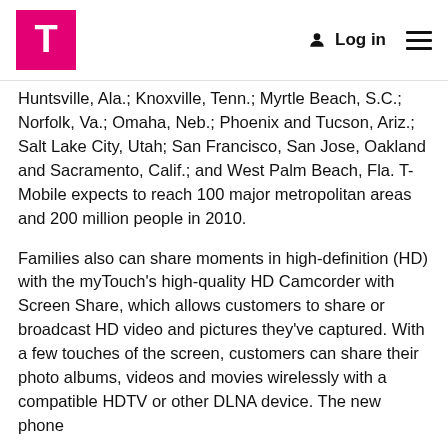T-Mobile | Log in
Huntsville, Ala.; Knoxville, Tenn.; Myrtle Beach, S.C.; Norfolk, Va.; Omaha, Neb.; Phoenix and Tucson, Ariz.; Salt Lake City, Utah; San Francisco, San Jose, Oakland and Sacramento, Calif.; and West Palm Beach, Fla. T-Mobile expects to reach 100 major metropolitan areas and 200 million people in 2010.
Families also can share moments in high-definition (HD) with the myTouch’s high-quality HD Camcorder with Screen Share, which allows customers to share or broadcast HD video and pictures they’ve captured. With a few touches of the screen, customers can share their photo albums, videos and movies wirelessly with a compatible HDTV or other DLNA device. The new phone